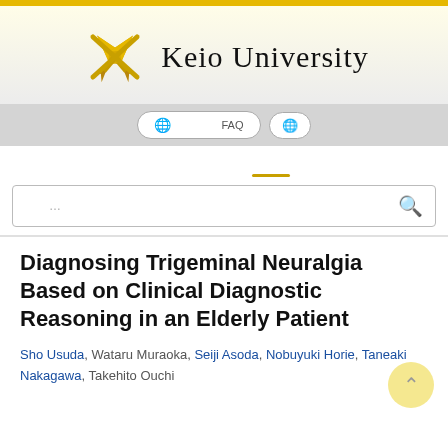[Figure (logo): Keio University logo with crossed quill pens in gold/yellow and the text 'Keio University' in serif font]
🌐 利用者向けFAQ | 🌐
利用案内　コンテンツを探す　慶應義塾関係者　英語タイトル
検索...
Diagnosing Trigeminal Neuralgia Based on Clinical Diagnostic Reasoning in an Elderly Patient
Sho Usuda, Wataru Muraoka, Seiji Asoda, Nobuyuki Horie, Taneaki Nakagawa, Takehito Ouchi